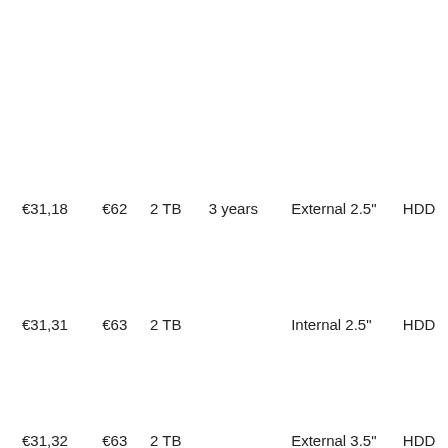| Price/unit | Price | Storage | Warranty | Type | Drive |
| --- | --- | --- | --- | --- | --- |
| €31,18 | €62 | 2 TB | 3 years | External 2.5" | HDD |
| €31,31 | €63 | 2 TB |  | Internal 2.5" | HDD |
| €31,32 | €63 | 2 TB |  | External 3.5" | HDD |
| €31,32 | €157 | 5 TB |  | External 3.5" | HDD |